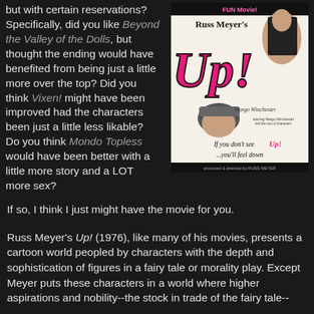but with certain reservations? Specifically, did you like Beyond the Valley of the Dolls, but thought the ending would have benefited from being just a little more over the top? Did you think Vixen! might have been improved had the characters been just a little less likable? Do you think Mondo Topless would have been better with a little more story and a LOT more sex?
[Figure (photo): Movie poster for Russ Meyer's Up! (1976) showing a woman in a black leather outfit and another character in a German helmet, with the text 'If you don't see Up! ...you'll feel down']
If so, I think I just might have the movie for you.
Russ Meyer's Up! (1976), like many of his movies, presents a cartoon world peopled by characters with the depth and sophistication of figures in a fairy tale or morality play. Except Meyer puts these characters in a world where higher aspirations and nobility--the stock in trade of the fairy tale--